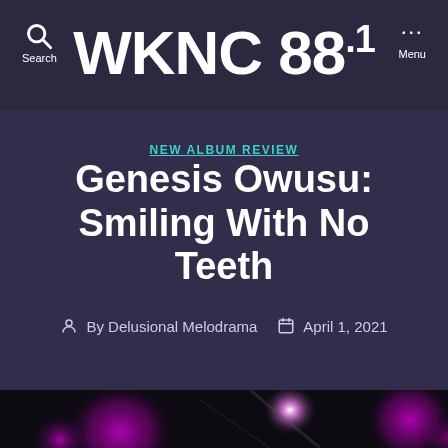WKNC 88.1
NEW ALBUM REVIEW
Genesis Owusu: Smiling With No Teeth
By Delusional Melodrama   April 1, 2021
[Figure (photo): Bokeh photo with purple/magenta blurred lights on dark background]